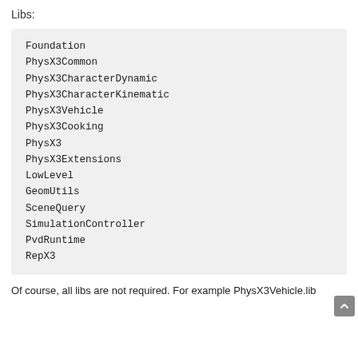Libs:
Foundation
PhysX3Common
PhysX3CharacterDynamic
PhysX3CharacterKinematic
PhysX3Vehicle
PhysX3Cooking
PhysX3
PhysX3Extensions
LowLevel
GeomUtils
SceneQuery
SimulationController
PvdRuntime
RepX3
Of course, all libs are not required. For example PhysX3Vehicle.lib is required if Vehicle module is used.